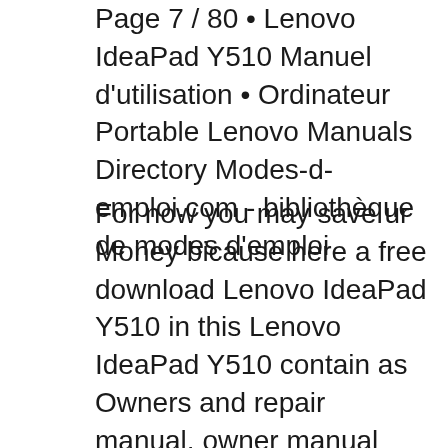Page 7 / 80 • Lenovo IdeaPad Y510 Manuel d'utilisation • Ordinateur Portable Lenovo Manuals Directory Modes-d-emploi.com - bibliothèque de modes d'emploi
For now you may save ur Money bicause here a free download Lenovo IdeaPad Y510 in this Lenovo IdeaPad Y510 contain as Owners and repair manual. owner manual reference used for maintaining, disassembly and servicing of Lenovo IdeaPad Y510 service manual It provides comprehensive information on identifying Lenovo IdeaPad Y510 features, components, and spare parts